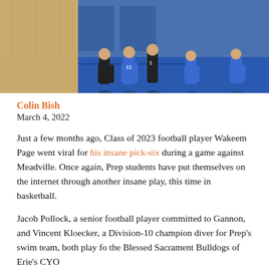[Figure (photo): Basketball players in blue and black uniforms playing on an indoor court with blue flooring and wooden sidelines]
Colin Bish
March 4, 2022
Just a few months ago, Class of 2023 football player Wakeem Page went viral for his insane pick-six during a game against Meadville. Once again, Prep students have put themselves on the internet through another insane play, this time in basketball.
Jacob Pollock, a senior football player committed to Gannon, and Vincent Kloecker, a Division-10 champion diver for Prep's swim team, both play for the Blessed Sacrament Bulldogs of Erie's CYO